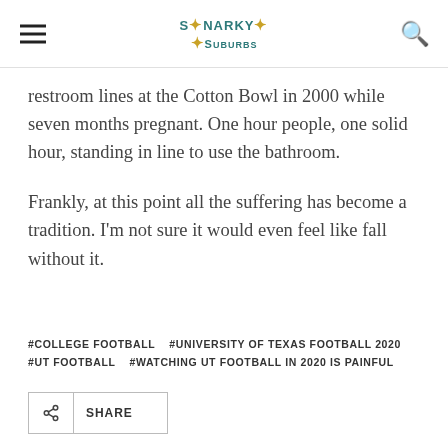Snarky in the Suburbs
restroom lines at the Cotton Bowl in 2000 while seven months pregnant. One hour people, one solid hour, standing in line to use the bathroom.
Frankly, at this point all the suffering has become a tradition. I'm not sure it would even feel like fall without it.
#COLLEGE FOOTBALL   #UNIVERSITY OF TEXAS FOOTBALL 2020   #UT FOOTBALL   #WATCHING UT FOOTBALL IN 2020 IS PAINFUL